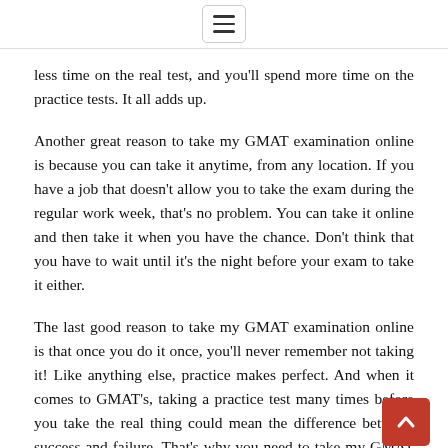≡
less time on the real test, and you'll spend more time on the practice tests. It all adds up.
Another great reason to take my GMAT examination online is because you can take it anytime, from any location. If you have a job that doesn't allow you to take the exam during the regular work week, that's no problem. You can take it online and then take it when you have the chance. Don't think that you have to wait until it's the night before your exam to take it either.
The last good reason to take my GMAT examination online is that once you do it once, you'll never remember not taking it! Like anything else, practice makes perfect. And when it comes to GMAT's, taking a practice test many times before you take the real thing could mean the difference between success and failure. That's why you need to take my GMAT online as many times as you need to until you feel confident that you're ready